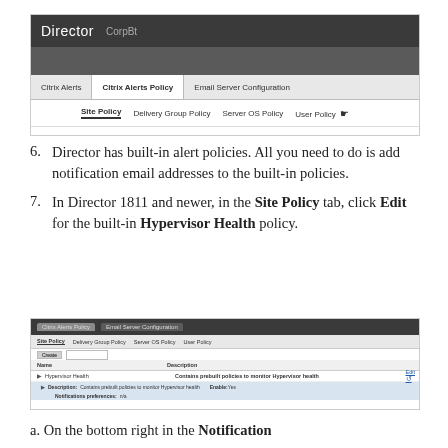[Figure (screenshot): Director application screenshot showing Citrix Alerts Policy tab with Site Policy, Delivery Group Policy, Server OS Policy, and User Policy sub-tabs. User Policy has a cursor hovering over it.]
6. Director has built-in alert policies. All you need to do is add notification email addresses to the built-in policies.
7. In Director 1811 and newer, in the Site Policy tab, click Edit for the built-in Hypervisor Health policy.
[Figure (screenshot): Screenshot of Citrix Alerts Policy panel showing Site Policy tab selected, with a table listing Hypervisor Health policy and an Edit button. The row is expanded showing Description and Notifications preferences.]
a. On the bottom right in the Notification